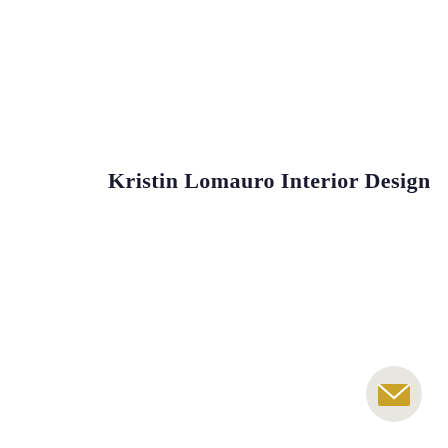Kristin Lomauro Interior Design
[Figure (illustration): Gold envelope icon on a light gray circular background, positioned in the bottom-right corner]